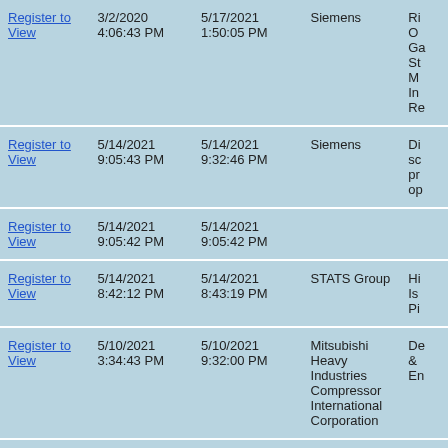|  | Date1 | Date2 | Company | Description |
| --- | --- | --- | --- | --- |
| Register to View | 3/2/2020 4:06:43 PM | 5/17/2021 1:50:05 PM | Siemens | Ri O Ga St M In Re |
| Register to View | 5/14/2021 9:05:43 PM | 5/14/2021 9:32:46 PM | Siemens | Di sc pr op |
| Register to View | 5/14/2021 9:05:42 PM | 5/14/2021 9:05:42 PM |  |  |
| Register to View | 5/14/2021 8:42:12 PM | 5/14/2021 8:43:19 PM | STATS Group | Hi Is Pi |
| Register to View | 5/10/2021 3:34:43 PM | 5/10/2021 9:32:00 PM | Mitsubishi Heavy Industries Compressor International Corporation | De & En |
| Register to View | 5/10/2021 | 5/10/2021 |  | A |